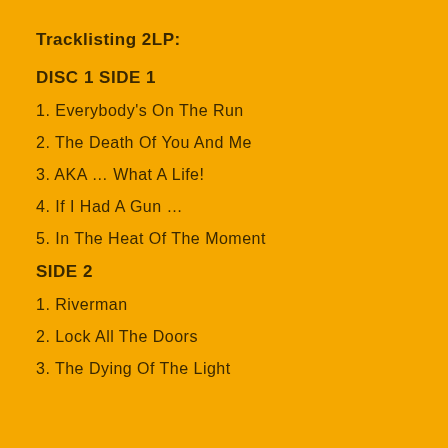Tracklisting 2LP:
DISC 1 SIDE 1
1. Everybody's On The Run
2. The Death Of You And Me
3. AKA … What A Life!
4. If I Had A Gun …
5. In The Heat Of The Moment
SIDE 2
1. Riverman
2. Lock All The Doors
3. The Dying Of The Light